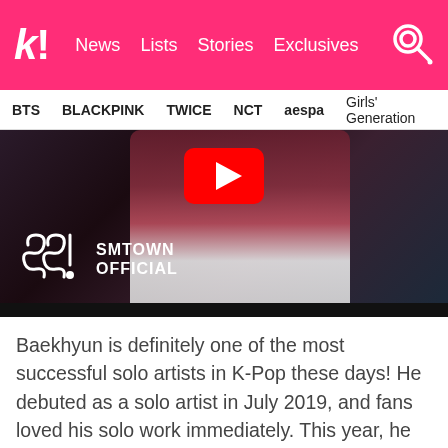k! News Lists Stories Exclusives
BTS  BLACKPINK  TWICE  NCT  aespa  Girls' Generation
[Figure (screenshot): YouTube video thumbnail showing a person in a red/maroon jacket and white hoodie with SMTOWN OFFICIAL logo overlay and red YouTube play button]
Baekhyun is definitely one of the most successful solo artists in K-Pop these days! He debuted as a solo artist in July 2019, and fans loved his solo work immediately. This year, he released his album Delight, which has sold about 1.02 million copies and has been triple platinum certified!